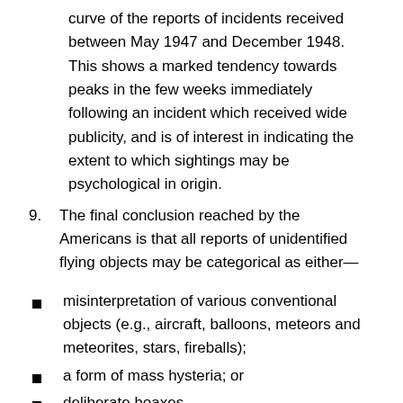curve of the reports of incidents received between May 1947 and December 1948. This shows a marked tendency towards peaks in the few weeks immediately following an incident which received wide publicity, and is of interest in indicating the extent to which sightings may be psychological in origin.
9. The final conclusion reached by the Americans is that all reports of unidentified flying objects may be categorical as either—
misinterpretation of various conventional objects (e.g., aircraft, balloons, meteors and meteorites, stars, fireballs);
a form of mass hysteria; or
deliberate hoaxes.
Investigation of incidents in the United